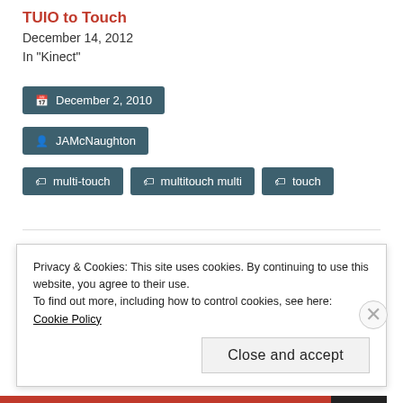TUIO to Touch
December 14, 2012
In "Kinect"
December 2, 2010
JAMcNaughton
multi-touch   multitouch multi   touch
← Compiz Multi-touch
TUIO output from Android
Privacy & Cookies: This site uses cookies. By continuing to use this website, you agree to their use.
To find out more, including how to control cookies, see here: Cookie Policy
Close and accept